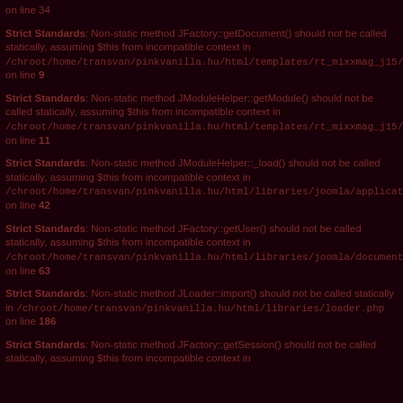on line 34
Strict Standards: Non-static method JFactory::getDocument() should not be called statically, assuming $this from incompatible context in /chroot/home/transvan/pinkvanilla.hu/html/templates/rt_mixxmag_j15/rt_utils.php on line 9
Strict Standards: Non-static method JModuleHelper::getModule() should not be called statically, assuming $this from incompatible context in /chroot/home/transvan/pinkvanilla.hu/html/templates/rt_mixxmag_j15/rt_utils.php on line 11
Strict Standards: Non-static method JModuleHelper::_load() should not be called statically, assuming $this from incompatible context in /chroot/home/transvan/pinkvanilla.hu/html/libraries/joomla/application/module/ on line 42
Strict Standards: Non-static method JFactory::getUser() should not be called statically, assuming $this from incompatible context in /chroot/home/transvan/pinkvanilla.hu/html/libraries/joomla/document/html/ren on line 63
Strict Standards: Non-static method JLoader::import() should not be called statically in /chroot/home/transvan/pinkvanilla.hu/html/libraries/loader.php on line 186
Strict Standards: Non-static method JFactory::getSession() should not be called statically, assuming $this from incompatible context in